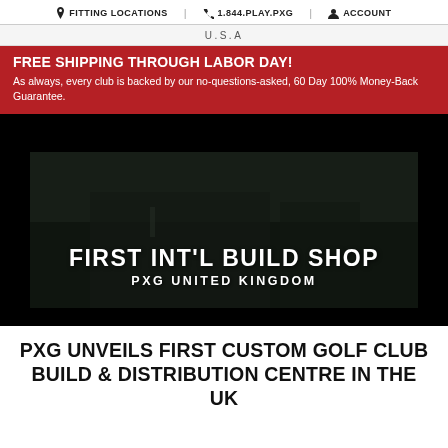FITTING LOCATIONS | 1.844.PLAY.PXG | ACCOUNT
U.S.A
FREE SHIPPING THROUGH LABOR DAY! As always, every club is backed by our no-questions-asked, 60 Day 100% Money-Back Guarantee.
[Figure (photo): Dark image of a building exterior with white bold text overlay reading 'FIRST INT'L BUILD SHOP' and below 'PXG UNITED KINGDOM']
PXG UNVEILS FIRST CUSTOM GOLF CLUB BUILD & DISTRIBUTION CENTRE IN THE UK